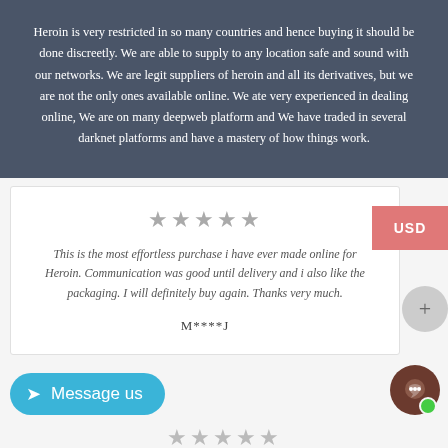Heroin is very restricted in so many countries and hence buying it should be done discreetly. We are able to supply to any location safe and sound with our networks. We are legit suppliers of heroin and all its derivatives, but we are not the only ones available online. We ate very experienced in dealing online, We are on many deepweb platform and We have traded in several darknet platforms and have a mastery of how things work.
This is the most effortless purchase i have ever made online for Heroin. Communication was good until delivery and i also like the packaging. I will definitely buy again. Thanks very much.
M****J
Message us